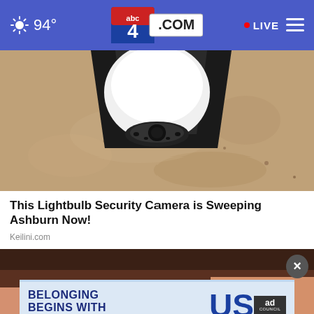94° • LIVE | abc4.com
[Figure (photo): Close-up photo of a white spherical lightbulb security camera mounted on a textured beige/tan stucco ceiling or wall, with a dark bracket mounting hardware visible.]
This Lightbulb Security Camera is Sweeping Ashburn Now!
Keilini.com
[Figure (photo): Partial photo of a person's face, with an advertisement overlay banner reading 'BELONGING BEGINS WITH US' (Ad Council) and a close/X button.]